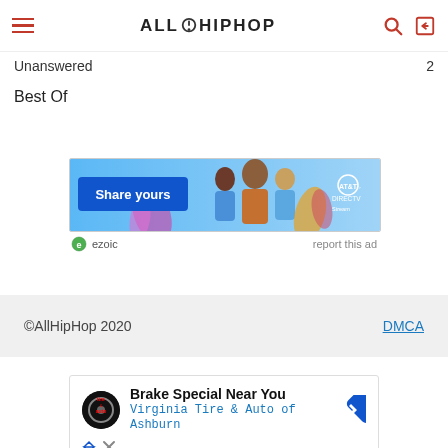ALLHIPHOP (navigation header with hamburger menu, logo, search and login icons)
Unanswered  2
Best Of
[Figure (infographic): AT&T DIRECTV Stream advertisement banner showing three women and text 'Share yours']
ezoic  report this ad
©AllHipHop 2020  DMCA
[Figure (infographic): Google ad for 'Brake Special Near You' - Virginia Tire & Auto of Ashburn with tire store logo and navigation arrow icon]